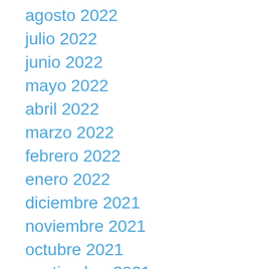agosto 2022
julio 2022
junio 2022
mayo 2022
abril 2022
marzo 2022
febrero 2022
enero 2022
diciembre 2021
noviembre 2021
octubre 2021
septiembre 2021
agosto 2021
julio 2021
junio 2021